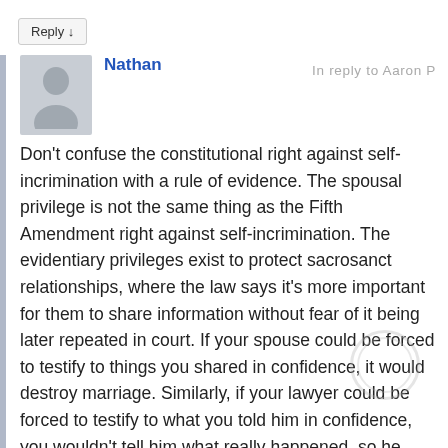Reply ↓
Nathan
In reply to Aaron P
Don't confuse the constitutional right against self-incrimination with a rule of evidence. The spousal privilege is not the same thing as the Fifth Amendment right against self-incrimination. The evidentiary privileges exist to protect sacrosanct relationships, where the law says it's more important for them to share information without fear of it being later repeated in court. If your spouse could be forced to testify to things you shared in confidence, it would destroy marriage. Similarly, if your lawyer could be forced to testify to what you told him in confidence, you wouldn't tell him what really happened, so he couldn't do his job and the system would fail. If your doctor could be forced to put your consultations on public record, you might not tell him your